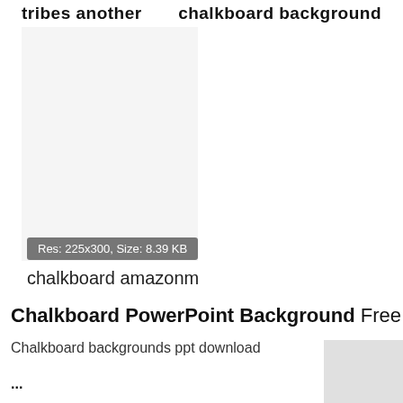tribes another
chalkboard background
[Figure (photo): Placeholder image area for chalkboard amazonm thumbnail]
Res: 225x300, Size: 8.39 KB
chalkboard amazonm
Chalkboard PowerPoint Background Free
Chalkboard backgrounds ppt download
...